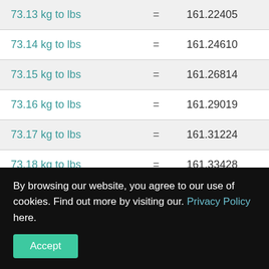| Conversion | = | Result |
| --- | --- | --- |
| 73.13 kg to lbs | = | 161.22405 |
| 73.14 kg to lbs | = | 161.24610 |
| 73.15 kg to lbs | = | 161.26814 |
| 73.16 kg to lbs | = | 161.29019 |
| 73.17 kg to lbs | = | 161.31224 |
| 73.18 kg to lbs | = | 161.33428 |
| 73.19 kg to lbs | = | 161.35633 |
| 73.2? kg to lbs | = | 161.37??? |
By browsing our website, you agree to our use of cookies. Find out more by visiting our. Privacy Policy here.